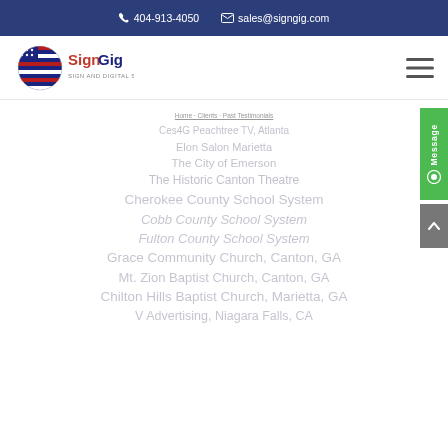404-913-4050   sales@signgig.com
[Figure (logo): SignGig logo — globe with US flag pattern and 'SignGig' text in red and dark blue]
Ces4G Peachtree TV, Atlanta
Elon Salon Marietta
The City of Emerson
The Historic Canton Theatre
Cherokee County School System
Cobb County School System
Fulton County School System
Grace Community Church, Canton, GA
Mt. Zion Baptist Church, Canton, GA
Chilton Hills Baptist Church, Marietta, GA
V Advertising, Niagara Falls, CA